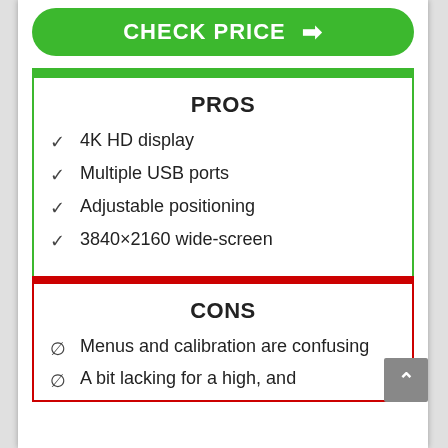[Figure (other): Green CHECK PRICE button with arrow icon]
PROS
4K HD display
Multiple USB ports
Adjustable positioning
3840×2160 wide-screen
CONS
Menus and calibration are confusing
A bit lacking for a high, and